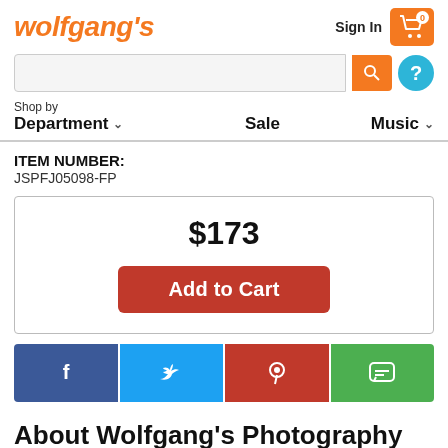[Figure (logo): Wolfgang's logo in orange italic text]
[Figure (screenshot): Navigation header with Sign In, cart icon, search bar, help button, Department/Sale/Music nav]
ITEM NUMBER:
JSPFJ05098-FP
$173
Add to Cart
[Figure (infographic): Social sharing buttons: Facebook, Twitter, Pinterest, Messages]
About Wolfgang's Photography